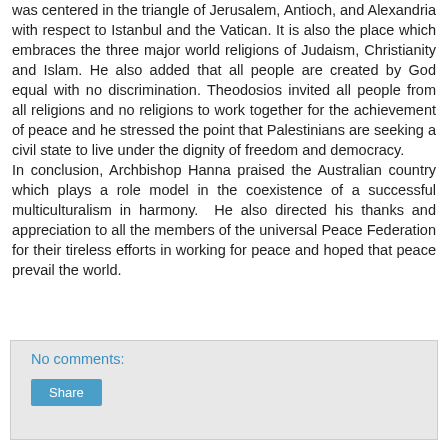was centered in the triangle of Jerusalem, Antioch, and Alexandria with respect to Istanbul and the Vatican. It is also the place which embraces the three major world religions of Judaism, Christianity and Islam. He also added that all people are created by God equal with no discrimination. Theodosios invited all people from all religions and no religions to work together for the achievement of peace and he stressed the point that Palestinians are seeking a civil state to live under the dignity of freedom and democracy. In conclusion, Archbishop Hanna praised the Australian country which plays a role model in the coexistence of a successful multiculturalism in harmony. He also directed his thanks and appreciation to all the members of the universal Peace Federation for their tireless efforts in working for peace and hoped that peace prevail the world.
No comments:
Share